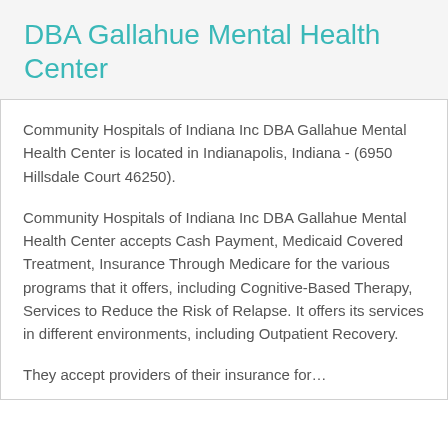DBA Gallahue Mental Health Center
Community Hospitals of Indiana Inc DBA Gallahue Mental Health Center is located in Indianapolis, Indiana - (6950 Hillsdale Court 46250).
Community Hospitals of Indiana Inc DBA Gallahue Mental Health Center accepts Cash Payment, Medicaid Covered Treatment, Insurance Through Medicare for the various programs that it offers, including Cognitive-Based Therapy, Services to Reduce the Risk of Relapse. It offers its services in different environments, including Outpatient Recovery.
They accept providers of their insurance for...